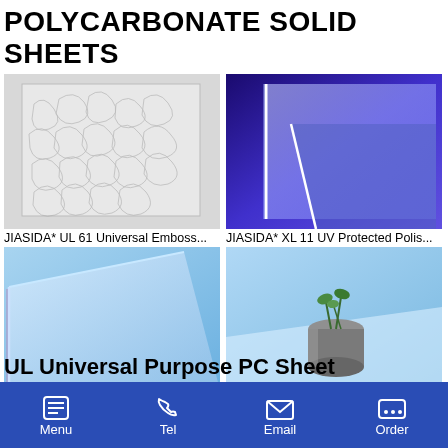POLYCARBONATE SOLID SHEETS
[Figure (photo): Embossed polycarbonate sheet with textured surface pattern]
[Figure (photo): Blue UV-lit polished polycarbonate sheet at an angle]
JIASIDA* UL 61 Universal Embossed...
JIASIDA* XL 11 UV Protected Polis...
[Figure (photo): Light blue polycarbonate clear sheet corner view]
[Figure (photo): Polished optical quality polycarbonate sheet with small cactus plant in metallic pot on top]
JIASIDA* OB 11CT Optical Quality ...
JIASIDA* OB 11CLR Polished Opti...
UL Universal Purpose PC Sheet
Menu   Tel   Email   Order